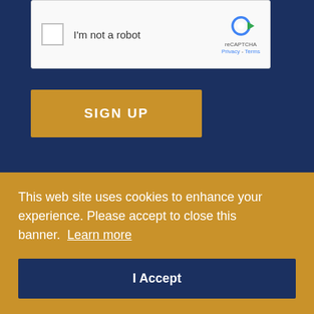[Figure (screenshot): reCAPTCHA widget showing checkbox labeled 'I'm not a robot' with reCAPTCHA logo, Privacy and Terms links]
[Figure (other): SIGN UP button in gold/amber color with white bold uppercase text]
[Figure (logo): Large white letter G with gold horizontal bar through middle, organization logo on dark navy background]
This web site uses cookies to enhance your experience. Please accept to close this banner.  Learn more
[Figure (other): I Accept button in dark navy blue with white text, inside gold cookie consent banner]